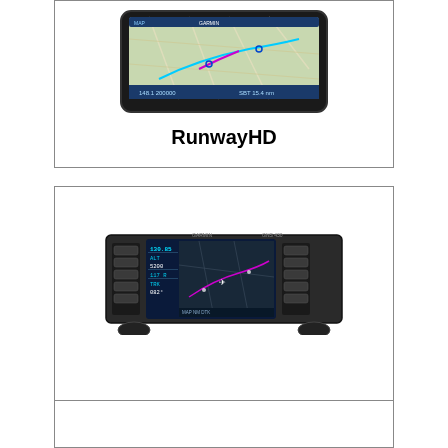[Figure (screenshot): Aviation navigation tablet device showing aeronautical chart on screen (RunwayHD app)]
RunwayHD
[Figure (photo): Garmin GNS series panel-mount GPS/Nav/Comm avionics device with color moving map display]
GNS series